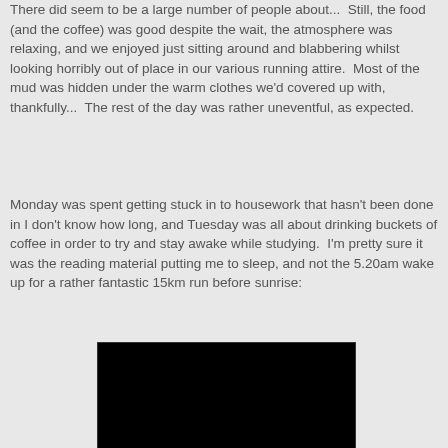There did seem to be a large number of people about...  Still, the food (and the coffee) was good despite the wait, the atmosphere was relaxing, and we enjoyed just sitting around and blabbering whilst looking horribly out of place in our various running attire.  Most of the mud was hidden under the warm clothes we'd covered up with, thankfully...  The rest of the day was rather uneventful, as expected.
Monday was spent getting stuck in to housework that hasn't been done in I don't know how long, and Tuesday was all about drinking buckets of coffee in order to try and stay awake while studying.  I'm pretty sure it was the reading material putting me to sleep, and not the 5.20am wake up for a rather fantastic 15km run before sunrise:
[Figure (photo): A mostly black/dark photograph, likely taken before sunrise during an early morning run, showing very low light conditions.]